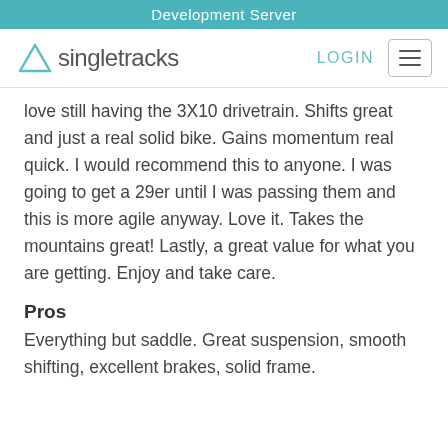Development Server
[Figure (logo): Singletracks logo with triangle icon, LOGIN link, and hamburger menu button]
love still having the 3X10 drivetrain. Shifts great and just a real solid bike. Gains momentum real quick. I would recommend this to anyone. I was going to get a 29er until I was passing them and this is more agile anyway. Love it. Takes the mountains great! Lastly, a great value for what you are getting. Enjoy and take care.
Pros
Everything but saddle. Great suspension, smooth shifting, excellent brakes, solid frame.